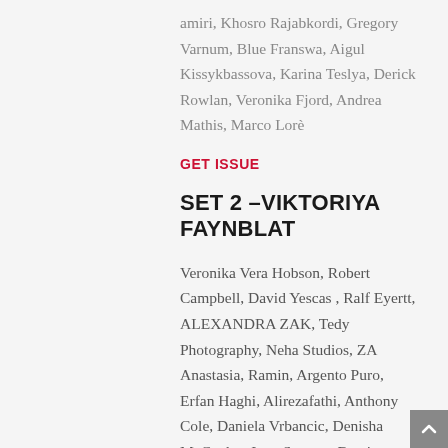amiri, Khosro Rajabkordi, Gregory Varnum, Blue Franswa, Aigul Kissykbassova, Karina Teslya, Derick Rowlan, Veronika Fjord, Andrea Mathis, Marco Lorè
GET ISSUE
SET 2 –VIKTORIYA FAYNBLAT
Veronika Vera Hobson, Robert Campbell, David Yescas , Ralf Eyertt, ALEXANDRA ZAK, Tedy Photography, Neha Studios, ZA Anastasia, Ramin, Argento Puro, Erfan Haghi, Alirezafathi, Anthony Cole, Daniela Vrbancic, Denisha McCauley, Ivan Stamato Baptista, Mandell Elm, Shell Eide